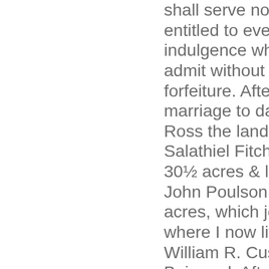shall serve no longer. To be entitled to every kind of indulgence which the law will admit without incuring a forfeiture. After wife's death or marriage to daughter Molly Ross the land I bought of Salathiel Fitchett containing 30½ acres & land I bought of John Poulson containing 18½ acres, which joins the land where I now live & the lands of William R. Custis & Dr. John Boisnard. After wife's death to daughter Rosey the land where I live containing 50 acres given me by my father, 49 acres I bought of Bagwell Hargis & 7 & 7/8 acres which I